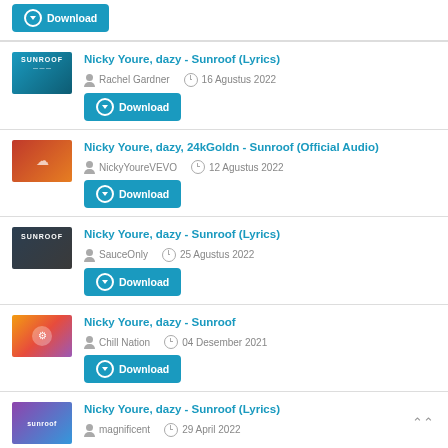Download (button, top partial)
Nicky Youre, dazy - Sunroof (Lyrics) | Rachel Gardner | 16 Agustus 2022 | Download
Nicky Youre, dazy, 24kGoldn - Sunroof (Official Audio) | NickyYoureVEVO | 12 Agustus 2022 | Download
Nicky Youre, dazy - Sunroof (Lyrics) | SauceOnly | 25 Agustus 2022 | Download
Nicky Youre, dazy - Sunroof | Chill Nation | 04 Desember 2021 | Download
Nicky Youre, dazy - Sunroof (Lyrics) | magnificent | 29 April 2022